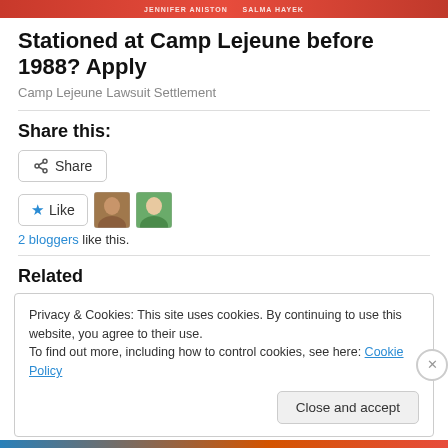[Figure (illustration): Red banner/advertisement strip at top of page with white text]
Stationed at Camp Lejeune before 1988? Apply
Camp Lejeune Lawsuit Settlement
Share this:
Share button
Like button with 2 blogger avatars
2 bloggers like this.
Related
Privacy & Cookies: This site uses cookies. By continuing to use this website, you agree to their use.
To find out more, including how to control cookies, see here: Cookie Policy
Close and accept